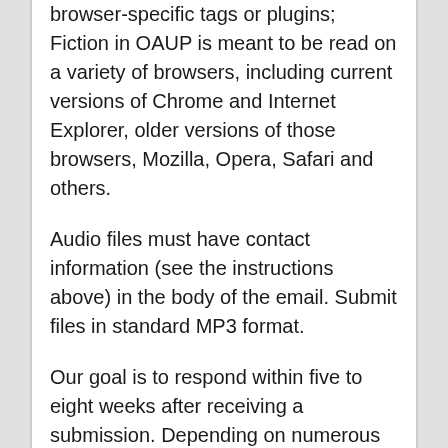browser-specific tags or plugins; Fiction in OAUP is meant to be read on a variety of browsers, including current versions of Chrome and Internet Explorer, older versions of those browsers, Mozilla, Opera, Safari and others.
Audio files must have contact information (see the instructions above) in the body of the email. Submit files in standard MP3 format.
Our goal is to respond within five to eight weeks after receiving a submission. Depending on numerous variables, however, it may take longer. Please give us ample time before inquiring about a submission's status. All submissions, whether fiction or nonfiction, are subject to spelling and grammar editing as well as to